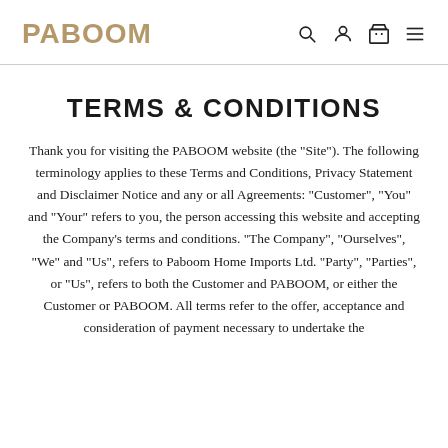PABOOM
TERMS & CONDITIONS
Thank you for visiting the PABOOM website (the "Site"). The following terminology applies to these Terms and Conditions, Privacy Statement and Disclaimer Notice and any or all Agreements: "Customer", "You" and "Your" refers to you, the person accessing this website and accepting the Company's terms and conditions. "The Company", "Ourselves", "We" and "Us", refers to Paboom Home Imports Ltd. "Party", "Parties", or "Us", refers to both the Customer and PABOOM, or either the Customer or PABOOM. All terms refer to the offer, acceptance and consideration of payment necessary to undertake the